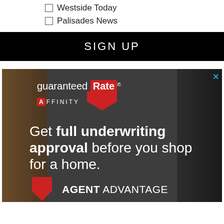☐ Westside Today
☐ Palisades News
SIGN UP
[Figure (advertisement): Guaranteed Rate Affinity advertisement with text: Get full underwriting approval before you shop for a home. AGENT ADVANTAGE]